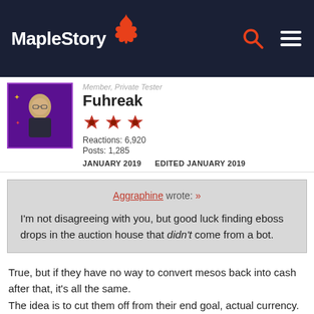MapleStory
Member, Private Tester
Fuhreak
Reactions: 6,920
Posts: 1,285
JANUARY 2019   EDITED JANUARY 2019
Aggraphine wrote: »

I'm not disagreeing with you, but good luck finding eboss drops in the auction house that didn't come from a bot.
True, but if they have no way to convert mesos back into cash after that, it's all the same.
The idea is to cut them off from their end goal, actual currency.
So long as the game is profitable, they won't stop.

Of course "gold sellers" aren't the only ones hacking, but they're